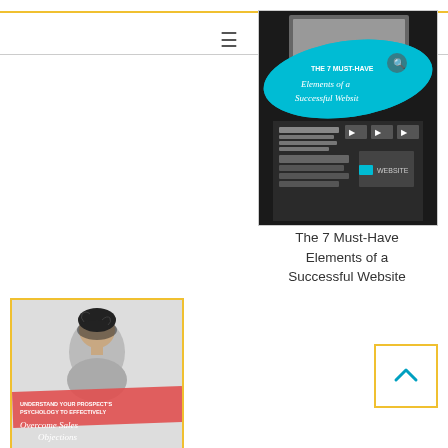[Figure (illustration): Website design illustration with '7 Must-Have Elements of a Successful Website' text on cyan banner and wireframe layout]
The 7 Must-Have Elements of a Successful Website
[Figure (illustration): Black and white photo of woman looking up with salmon-colored banner reading 'Understand Your Prospect's Psychology to Effectively Overcome Sales Objections']